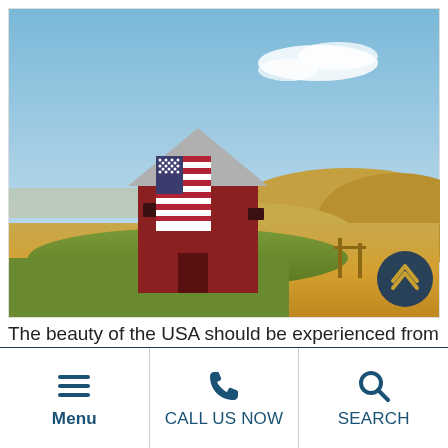[Figure (photo): A red barn with a large American flag painted on its front, set in a golden wheat field landscape under a blue sky with light clouds.]
The beauty of the USA should be experienced from coast to
Menu
CALL US NOW
SEARCH